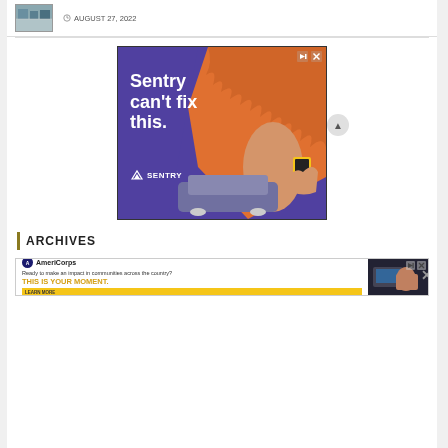[Figure (photo): Small thumbnail photo of an airport or transit area]
AUGUST 27, 2022
[Figure (illustration): Sentry insurance advertisement: purple background with large orange bird/creature stepping on a car. Text reads 'Sentry can't fix this.' with Sentry logo.]
ARCHIVES
[Figure (illustration): AmeriCorps advertisement: 'Ready to make an impact in communities across the country? THIS IS YOUR MOMENT.' with LEARN MORE button and image of person at computer.]